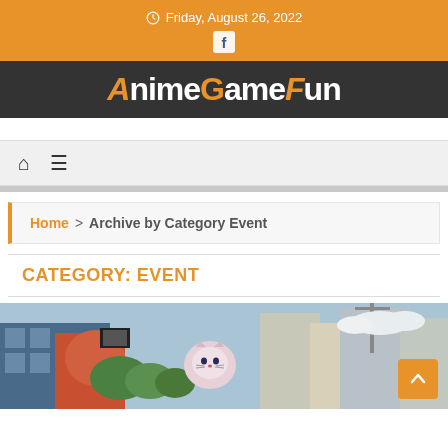Friday, August 26, 2022
AnimeGameFun
Home > Archive by Category Event
CATEGORY: EVENT
[Figure (photo): Photo of an urban street scene with an anime cat figure/balloon display on a building, surrounded by trees and city buildings against a blue sky]